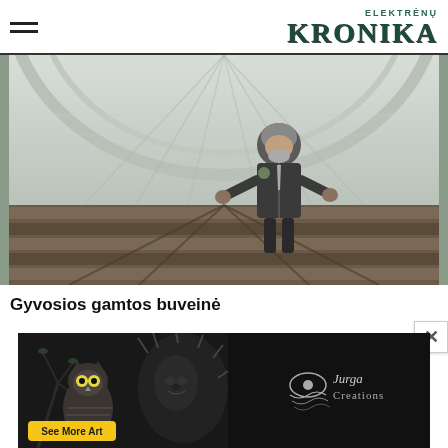ELEKTRĖNŲ KRONIKA
[Figure (photo): A man in a dark jacket gesturing with both hands inside a large greenhouse or polytunnel with long planting rows and translucent cover.]
Gyvosios gamtos buveinė
[Figure (illustration): Advertisement banner for Jurga Creations showing detailed pen illustration of an owl and a face amid foliage, with a 'See More Art' yellow button and the Jurga Creations logo.]